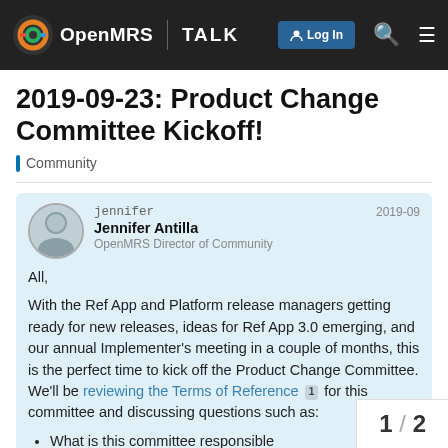OpenMRS TALK | Log In
2019-09-23: Product Change Committee Kickoff!
Community
jennifer
Jennifer Antilla
OpenMRS Director of Community
2019-09
All,
With the Ref App and Platform release managers getting ready for new releases, ideas for Ref App 3.0 emerging, and our annual Implementer's meeting in a couple of months, this is the perfect time to kick off the Product Change Committee. We'll be reviewing the Terms of Reference 1 for this committee and discussing questions such as:
What is this committee responsible priorities for the next three months?